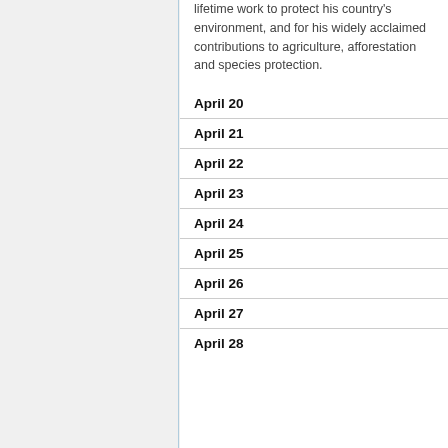lifetime work to protect his country's environment, and for his widely acclaimed contributions to agriculture, afforestation and species protection.
April 20
April 21
April 22
April 23
April 24
April 25
April 26
April 27
April 28